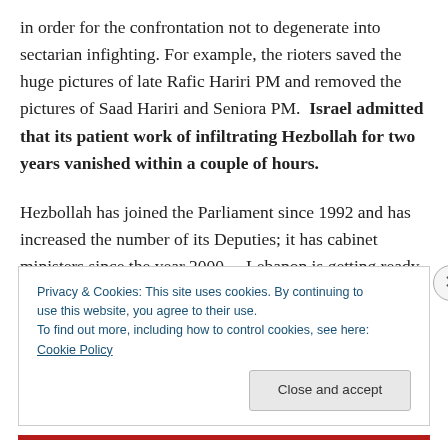in order for the confrontation not to degenerate into sectarian infighting. For example, the rioters saved the huge pictures of late Rafic Hariri PM and removed the pictures of Saad Hariri and Seniora PM.  Israel admitted that its patient work of infiltrating Hezbollah for two years vanished within a couple of hours.

Hezbollah has joined the Parliament since 1992 and has increased the number of its Deputies; it has cabinet ministers since the year 2000.   Lebanon is getting ready for Parliamentary election in June 7, 2009 and all the
Privacy & Cookies: This site uses cookies. By continuing to use this website, you agree to their use.
To find out more, including how to control cookies, see here: Cookie Policy

Close and accept